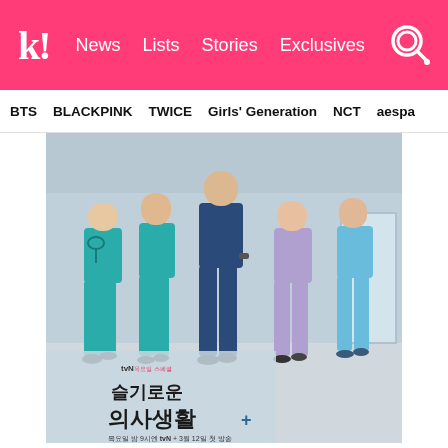k! News  Lists  Stories  Exclusives
BTS   BLACKPINK   TWICE   Girls' Generation   NCT   aespa
[Figure (photo): Promotional poster for Korean drama 'Hospital Playlist' (슬기로운 의사생활) showing five doctors in scrubs walking down a hospital corridor. Text in Korean reads: tvN 목요일 밤 9시엔 tvN + 3월 12일 첫 방송]